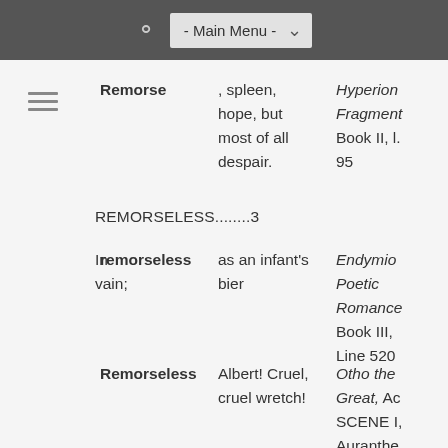- Main Menu -
Remorse
, spleen, hope, but most of all despair.
Hyperion Fragment Book II, l. 95
REMORSELESS........3
In vain;  remorseless  as an infant's bier  Endymion, Poetic Romance Book III, Line 520
Remorseless  Albert! Cruel, cruel wretch!  Otho the Great, Act SCENE I, Auranthe Line 177